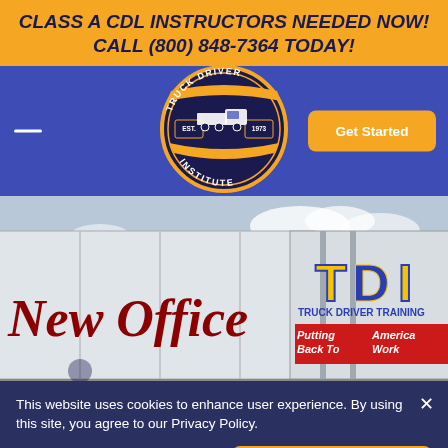CLASS A CDL INSTRUCTORS NEEDED NOW! CALL (800) 848-7364 TODAY!
[Figure (logo): Truck Driver Institute circular logo with truck illustration, EST. 1973]
Get Started
[Figure (photo): Photo of a TDI truck trailer showing 'New Office' text on left side and 'TDI TRUCK DRIVER TRAINING - Putting Back To America Work' on the right side]
This website uses cookies to enhance user experience. By using this site, you agree to our Privacy Policy.
View complete details here.
Accept & Close